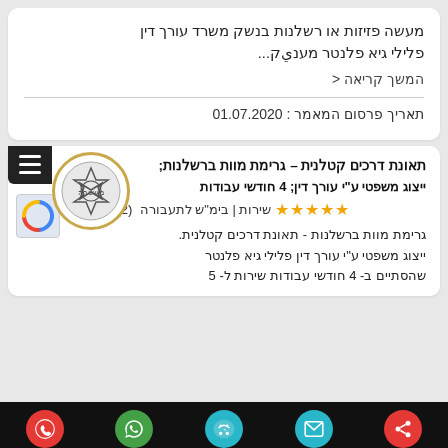מעשה פזיזות או רשלנות בנשק משרד עורך דין פלילי גיא פלנטר מענيק...
המשך קריאה >
תאריך פרסום המאמר : 01.07.2020
תאונת דרכים קטלנית – גרימת מוות ברשלנות; ייצוג משפטי ע"י עורך דין; 4 חודשי עבודות שירות | בימ"ש לתעבורה (2) 5
גרימת מוות ברשלנות - תאונת דרכים קטלנית. ייצוג משפטי ע"י עורך דין פלילי גיא פלנטר שהסתיים ב- 4 חודשי עבודות שירות ל- 5
[Figure (logo): Israeli police badge/emblem in circular gold-bordered logo]
[Figure (screenshot): Bottom navigation bar with share, email, Waze, WhatsApp, and phone call icons]